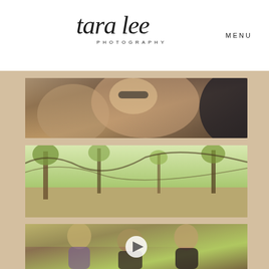[Figure (logo): Tara Lee Photography logo in script font with 'PHOTOGRAPHY' in spaced caps beneath]
MENU
[Figure (photo): Close-up outdoor photo of people laughing, woman with sunglasses and blonde hair visible]
[Figure (photo): Outdoor nature photo with trees and green foliage, countryside setting]
[Figure (photo): Family photo with children and adults outdoors, video play button overlay visible]